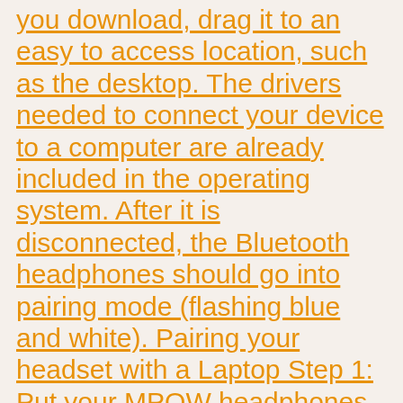you download, drag it to an easy to access location, such as the desktop. The drivers needed to connect your device to a computer are already included in the operating system. After it is disconnected, the Bluetooth headphones should go into pairing mode (flashing blue and white). Pairing your headset with a Laptop Step 1: Put your MPOW headphones into pairing mode. Make sure the Bluetooth Headphones are turned ON and placed near the computer. 1. Another simple and easy way to connect two Bluetooth headphones at the same time on a Laptop is to download a virtual audio cable by following this link. Travis Boylls is a Technology Writer and Editor for wikiHow. If your PC doesn't, you can plug a USB Bluetooth adapter into the USB port on your PC to get it. Pairing procedure. We